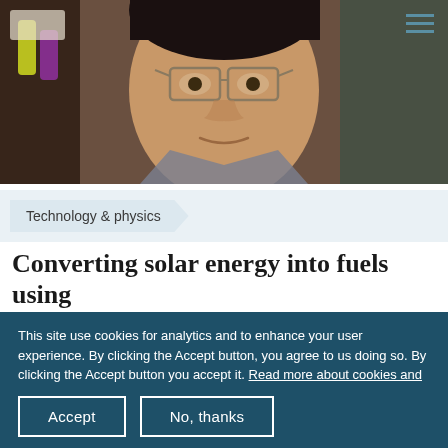[Figure (photo): Researcher holding colorful vials in a lab setting, smiling at the camera, wearing glasses]
Technology & physics
Converting solar energy into fuels using
This site use cookies for analytics and to enhance your user experience. By clicking the Accept button, you agree to us doing so. By clicking the Accept button you accept it. Read more about cookies and privacy policy.
Accept
No, thanks